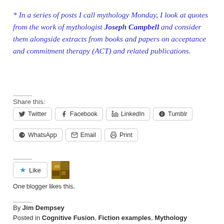* In a series of posts I call mythology Monday, I look at quotes from the work of mythologist Joseph Campbell and consider them alongside extracts from books and papers on acceptance and commitment therapy (ACT) and related publications.
Share this:
Twitter | Facebook | LinkedIn | Tumblr | WhatsApp | Email | Print
One blogger likes this.
By Jim Dempsey
Posted in Cognitive Fusion, Fiction examples, Mythology